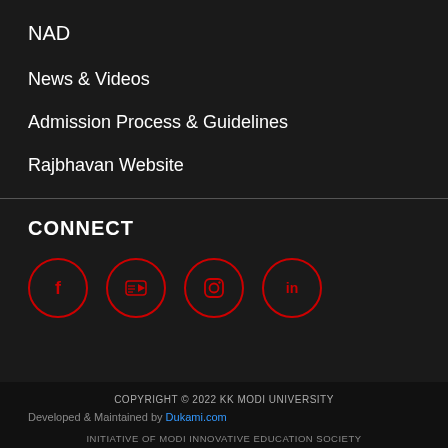NAD
News & Videos
Admission Process & Guidelines
Rajbhavan Website
CONNECT
[Figure (infographic): Four social media icons in red circles: Facebook (f), YouTube (play button with lines), Instagram (camera outline), LinkedIn (in)]
COPYRIGHT © 2022 KK MODI UNIVERSITY
Developed & Maintained by Dukami.com
INITIATIVE OF MODI INNOVATIVE EDUCATION SOCIETY